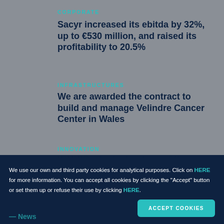CORPORATE
Sacyr increased its ebitda by 32%, up to €530 million, and raised its profitability to 20.5%
INFRASTRUCTURES
We are awarded the contract to build and manage Velindre Cancer Center in Wales
INNOVATION
IOHNIC. The technology of the
We use our own and third party cookies for analytical purposes. Click on HERE for more information. You can accept all cookies by clicking the "Accept" button or set them up or refuse their use by clicking HERE.
— News